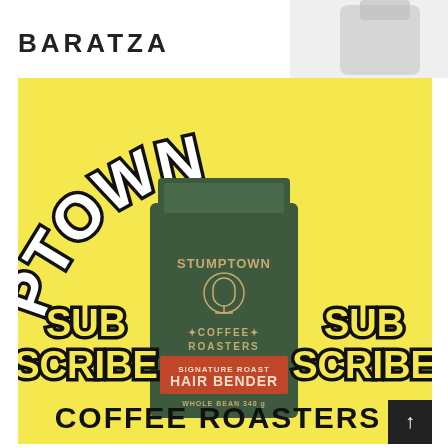[Figure (logo): BARATZA logo text in bold uppercase black letters at the top of the page, with a partial coffee grinder visible to the right]
[Figure (illustration): Stumptown Coffee Roasters promotional image on yellow background. Large arched 'STUMPTOWN' text at top in black bubble letters with white fill. Center shows a green coffee bag labeled 'STUMPTOWN COFFEE ROASTERS HAIR BENDER WHOLE BEAN'. On either side of the bag are 'SUB SCRIBE' in yellow bubble letters with black stroke. Bottom text reads 'COFFEE ROASTERS' in large black letters. Scroll arrow button in bottom right corner.]